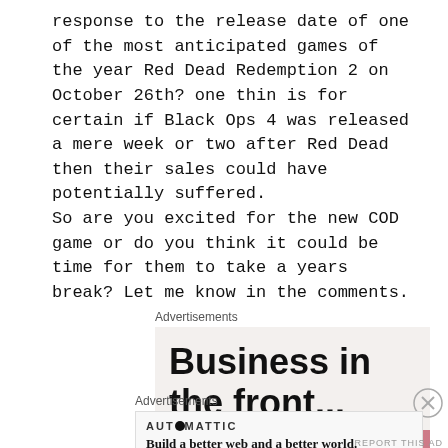response to the release date of one of the most anticipated games of the year Red Dead Redemption 2 on October 26th? one thin is for certain if Black Ops 4 was released a mere week or two after Red Dead then their sales could have potentially suffered.
So are you excited for the new COD game or do you think it could be time for them to take a years break? Let me know in the comments.
Advertisements
[Figure (other): Advertisement banner showing 'Business in the front...' text over a light gray background with a colorful gradient bar at the bottom showing partial text 'W...D']
Advertisements
[Figure (other): Automattic advertisement: logo text 'AUTOMATTIC' with circular bullet, tagline 'Build a better web and a better world.']